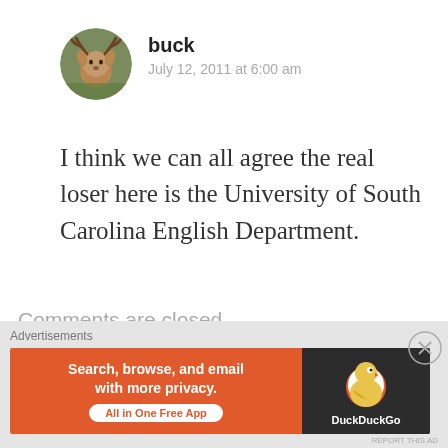[Figure (illustration): Circular avatar image of a deer/buck in a forest background]
buck
July 12, 2011 at 6:00 am
I think we can all agree the real loser here is the University of South Carolina English Department.
Comments are closed.
Advertisements
[Figure (screenshot): Red advertisement bar]
Advertisements
[Figure (screenshot): DuckDuckGo advertisement: Search, browse, and email with more privacy. All in One Free App]